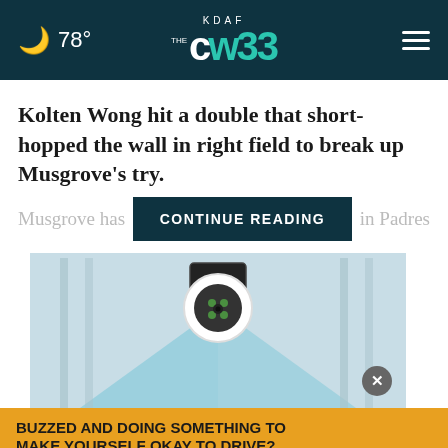78° KDAF THE CW 33
Kolten Wong hit a double that short-hopped the wall in right field to break up Musgrove's try.
Musgrove has [CONTINUE READING] in Padres
[Figure (photo): Security camera mounted on ceiling with blue light sweep illustration in a room interior, with close button (x) visible]
BUZZED AND DOING SOMETHING TO MAKE YOURSELF OKAY TO DRIVE?
Sweeping Ashburn Now!- Today 60%